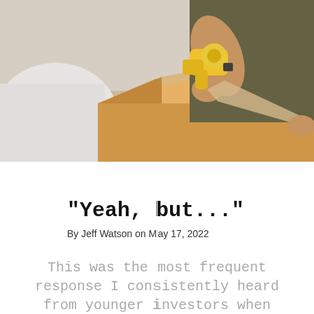[Figure (photo): A person in a dark olive/brown shirt using a yellow tape gun to seal a cardboard moving box. A second person in white is partially visible on the left side of the image. The scene is of packing boxes.]
"Yeah, but..."
By Jeff Watson on May 17, 2022
This was the most frequent response I consistently heard from younger investors when they asked me about the real estate...